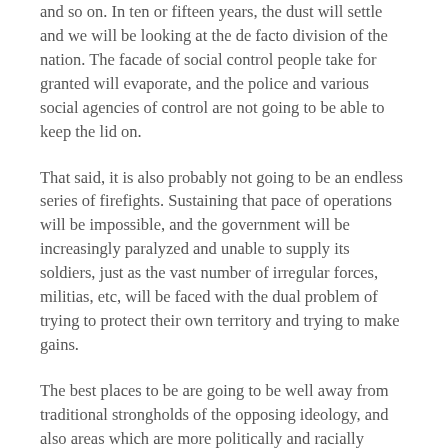and so on. In ten or fifteen years, the dust will settle and we will be looking at the de facto division of the nation. The facade of social control people take for granted will evaporate, and the police and various social agencies of control are not going to be able to keep the lid on.
That said, it is also probably not going to be an endless series of firefights. Sustaining that pace of operations will be impossible, and the government will be increasingly paralyzed and unable to supply its soldiers, just as the vast number of irregular forces, militias, etc, will be faced with the dual problem of trying to protect their own territory and trying to make gains.
The best places to be are going to be well away from traditional strongholds of the opposing ideology, and also areas which are more politically and racially homogeneous. Places which have a tradition of self sufficiency and low tech food production will be ideal.
I personally wish people would just take a step back